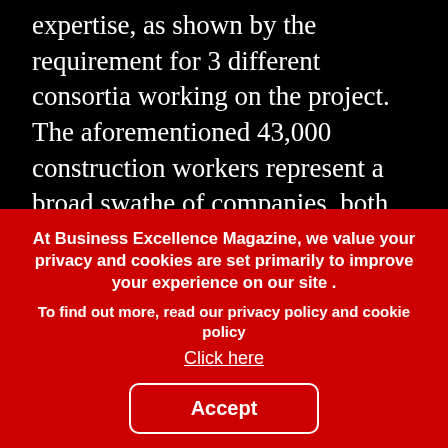expertise, as shown by the requirement for 3 different consortia working on the project. The aforementioned 43,000 construction workers represent a broad swathe of companies, both local and international. Name checking them all would occupy a magazine in itself, but we can mention a few here.
In the construction phase, Mohammad Abdullah Alareedh Ltd.Co has provided much of the heavy equipment required, including the EREX AC700, a telescopic boom mobile crane. ALAREEDH, another
At Business Excellence Magazine, we value your privacy and cookies are set primarily to improve your experience on our site .
To find out more, read our privacy policy and cookie policy
Click here
Accept